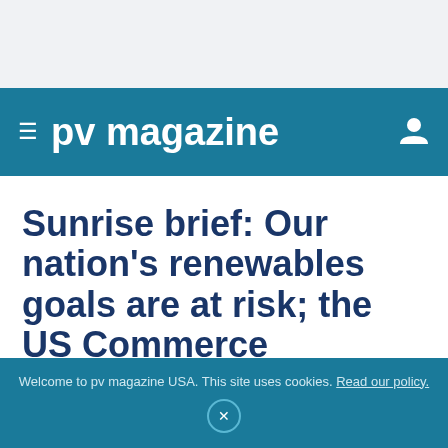pv magazine
Sunrise brief: Our nation's renewables goals are at risk; the US Commerce Department must reject the latest
Welcome to pv magazine USA. This site uses cookies. Read our policy.